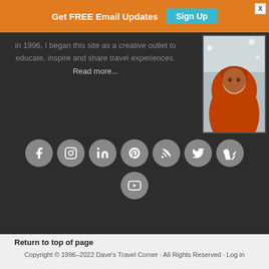Get FREE Email Updates  Sign Up
in 1996, I began this site as a creative outlet to educate, inspire and share travel experiences. Read more...
[Figure (photo): Person wearing an orange North Face jacket in a snowy environment, smiling at the camera]
[Figure (infographic): Social media icons row: Facebook, Instagram, LinkedIn, Pinterest, RSS, Twitter, Vimeo, and YouTube circles]
Return to top of page
Copyright © 1996–2022 Dave's Travel Corner · All Rights Reserved · Log in